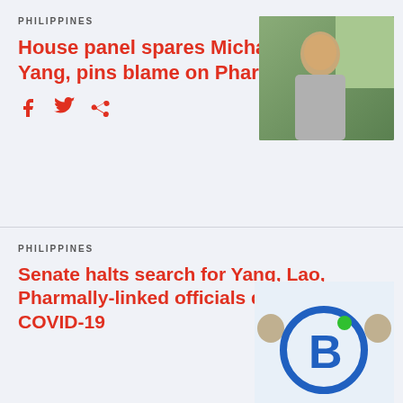PHILIPPINES
House panel spares Michael Yang, pins blame on Pharmally
[Figure (photo): Photo of Michael Yang, a man in a suit sitting indoors with green trees visible through a window behind him]
PHILIPPINES
Senate halts search for Yang, Lao, Pharmally-linked officials due to COVID-19
[Figure (logo): Pharmally logo — a stylized blue and green circular B letter mark on a white background, with two people visible on the sides]